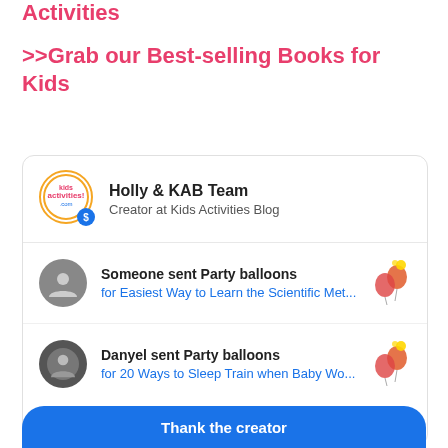Activities
>>Grab our Best-selling Books for Kids
Holly & KAB Team
Creator at Kids Activities Blog
Someone sent Party balloons
for Easiest Way to Learn the Scientific Met...
Danyel sent Party balloons
for 20 Ways to Sleep Train when Baby Wo...
View all thanks
Thank the creator